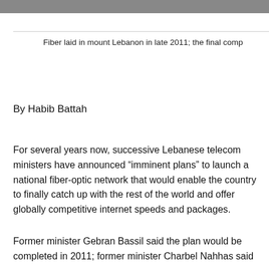[Figure (photo): Gray image strip at top of page, partially visible photograph]
Fiber laid in mount Lebanon in late 2011; the final comp
By Habib Battah
For several years now, successive Lebanese telecom ministers have announced “imminent plans” to launch a national fiber-optic network that would enable the country to finally catch up with the rest of the world and offer globally competitive internet speeds and packages.
Former minister Gebran Bassil said the plan would be completed in 2011; former minister Charbel Nahhas said